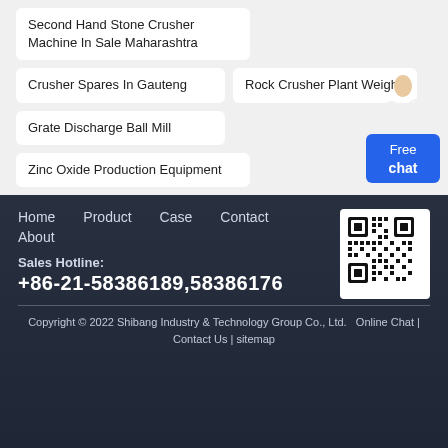Second Hand Stone Crusher Machine In Sale Maharashtra
Crusher Spares In Gauteng
Rock Crusher Plant Weight
Grate Discharge Ball Mill
Zinc Oxide Production Equipment
Free chat
Home  Product  Case  Contact  About
Sales Hotline: +86-21-58386189,58386176
Copyright © 2022 Shibang Industry & Technology Group Co., Ltd.  Online Chat | Contact Us | sitemap